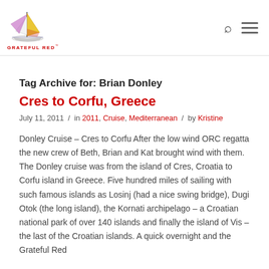[Figure (logo): Grateful Red sailing logo with a colorful sailboat graphic and the text GRATEFUL RED in red below]
Tag Archive for: Brian Donley
Cres to Corfu, Greece
July 11, 2011  /  in 2011, Cruise, Mediterranean  /  by Kristine
Donley Cruise – Cres to Corfu After the low wind ORC regatta the new crew of Beth, Brian and Kat brought wind with them. The Donley cruise was from the island of Cres, Croatia to Corfu island in Greece. Five hundred miles of sailing with such famous islands as Losinj (had a nice swing bridge), Dugi Otok (the long island), the Kornati archipelago – a Croatian national park of over 140 islands and finally the island of Vis – the last of the Croatian islands. A quick overnight and the Grateful Red